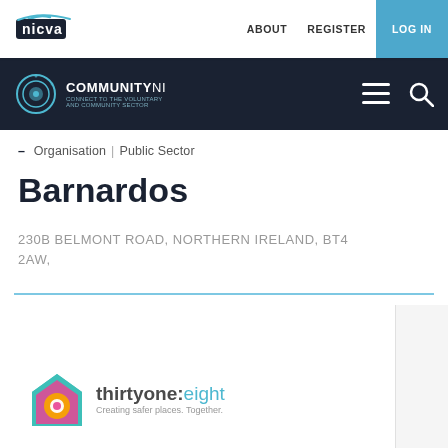[Figure (logo): NICVA logo - white background with nicva text and curved line]
[Figure (logo): CommunityNI logo with circular icon on dark navy background]
– Organisation | Public Sector
Barnardos
230B BELMONT ROAD, NORTHERN IRELAND, BT4 2AW,
[Figure (logo): thirtyone:eight logo - house icon with Creating safer places. Together. tagline]